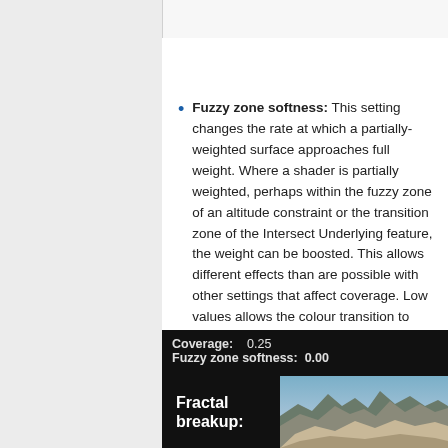Fuzzy zone softness: This setting changes the rate at which a partially-weighted surface approaches full weight. Where a shader is partially weighted, perhaps within the fuzzy zone of an altitude constraint or the transition zone of the Intersect Underlying feature, the weight can be boosted. This allows different effects than are possible with other settings that affect coverage. Low values allows the colour transition to become sharper.
[Figure (screenshot): Screenshot showing Coverage: 0.25, Fuzzy zone softness: 0.00, with a Fractal breakup label and a mountain landscape image.]